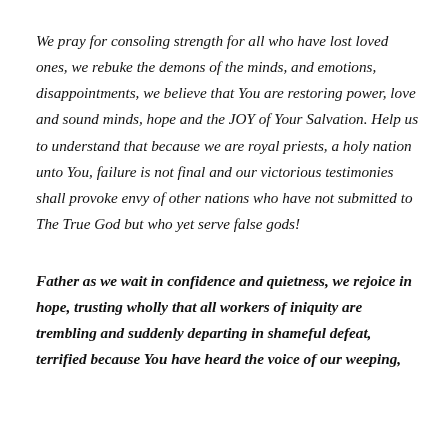We pray for consoling strength for all who have lost loved ones, we rebuke the demons of the minds, and emotions, disappointments, we believe that You are restoring power, love and sound minds, hope and the JOY of Your Salvation. Help us to understand that because we are royal priests, a holy nation unto You, failure is not final and our victorious testimonies shall provoke envy of other nations who have not submitted to The True God but who yet serve false gods!
Father as we wait in confidence and quietness, we rejoice in hope, trusting wholly that all workers of iniquity are trembling and suddenly departing in shameful defeat, terrified because You have heard the voice of our weeping,